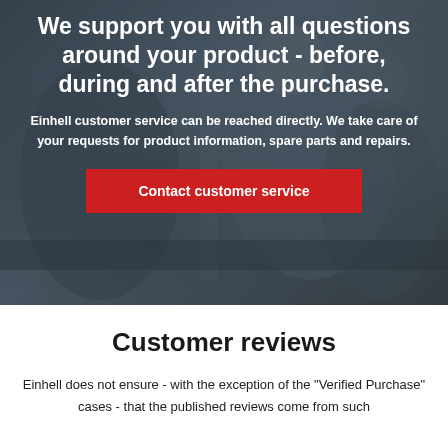[Figure (photo): Background photo of office workers in a meeting, overlaid with white text and a red button]
We support you with all questions around your product - before, during and after the purchase.
Einhell customer service can be reached directly. We take care of your requests for product information, spare parts and repairs.
Contact customer service
Customer reviews
Einhell does not ensure - with the exception of the "Verified Purchase" cases - that the published reviews come from such